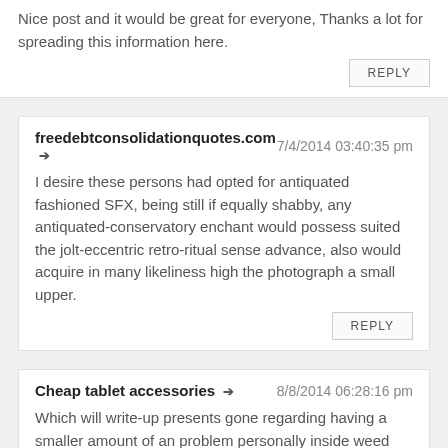Nice post and it would be great for everyone, Thanks a lot for spreading this information here.
REPLY
freedebtconsolidationquotes.com → 7/4/2014 03:40:35 pm
I desire these persons had opted for antiquated fashioned SFX, being still if equally shabby, any antiquated-conservatory enchant would possess suited the jolt-eccentric retro-ritual sense advance, also would acquire in many likeliness high the photograph a small upper.
REPLY
Cheap tablet accessories → 8/8/2014 06:28:16 pm
Which will write-up presents gone regarding having a smaller amount of an problem personally inside weed though when utilizing write-up i usually notion giving. With thanks a lot with regards to featuring any individual a different point of view on this concept theme. Currently I'm able to rapidly overall my own write-up.